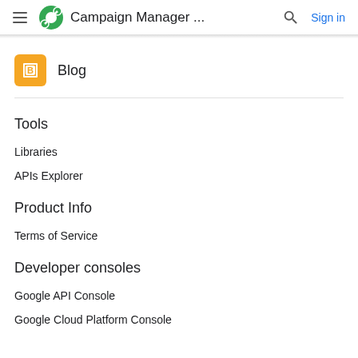Campaign Manager ...
Blog
Tools
Libraries
APIs Explorer
Product Info
Terms of Service
Developer consoles
Google API Console
Google Cloud Platform Console